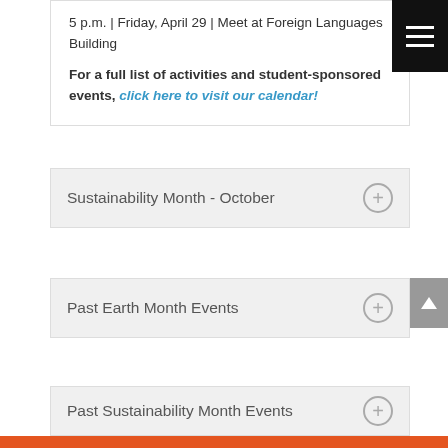5 p.m. | Friday, April 29 | Meet at Foreign Languages Building
For a full list of activities and student-sponsored events, click here to visit our calendar!
Sustainability Month - October
Past Earth Month Events
Past Sustainability Month Events